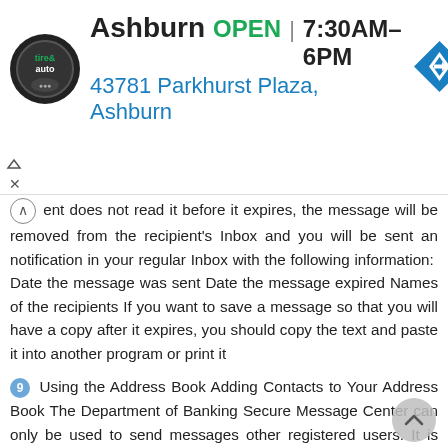[Figure (screenshot): Advertisement banner for Ashburn tire & auto shop showing logo, OPEN status, hours 7:30AM-6PM, address 43781 Parkhurst Plaza Ashburn, and a blue navigation arrow icon]
ent does not read it before it expires, the message will be removed from the recipient's Inbox and you will be sent an notification in your regular Inbox with the following information: Date the message was sent Date the message expired Names of the recipients If you want to save a message so that you will have a copy after it expires, you should copy the text and paste it into another program or print it
9 Using the Address Book Adding Contacts to Your Address Book The Department of Banking Secure Message Center can only be used to send messages other registered users. It is possible to store addresses for other domains, but you will be unable to send secure s to these contacts. There are two methods for adding contacts to your Address Book. Method 1 1. Click the Address tab. The address page is displayed. 2. Click the Add a Contact button. The Add a Contact page is displayed.